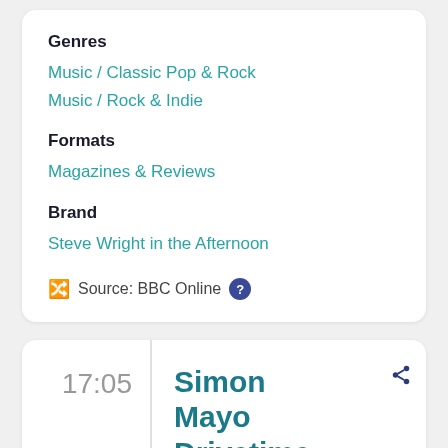Genres
Music / Classic Pop & Rock
Music / Rock & Indie
Formats
Magazines & Reviews
Brand
Steve Wright in the Afternoon
Source: BBC Online
17:05
Simon Mayo Drivetime
01/11/2011